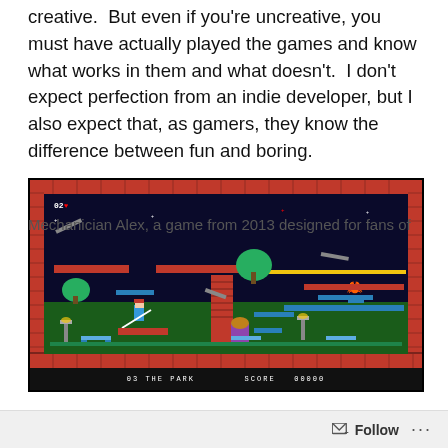creative. But even if you're uncreative, you must have actually played the games and know what works in them and what doesn't. I don't expect perfection from an indie developer, but I also expect that, as gamers, they know the difference between fun and boring.
[Figure (screenshot): Screenshot of a retro-style 2D platformer game called 'Mechanician Alex'. The game shows a park level (03 THE PARK) with a score of 00000. The scene has red brick borders, a dark night sky background with stars, green ground, platforms, a character with a red hat, street lamps, benches, a tree, and a door.]
Mechanician Alex, a game from 2013 designed for fans of